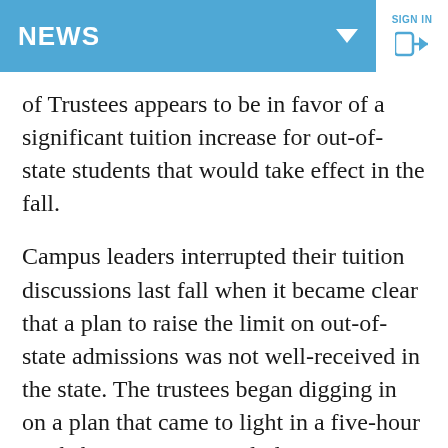NEWS
of Trustees appears to be in favor of a significant tuition increase for out-of-state students that would take effect in the fall.
Campus leaders interrupted their tuition discussions last fall when it became clear that a plan to raise the limit on out-of-state admissions was not well-received in the state. The trustees began digging in on a plan that came to light in a five-hour workshop Jan. 7 – a prelude to a vote on the matter later this month. Three scenarios call for non-North